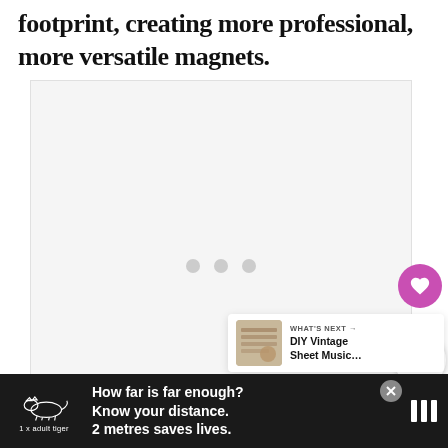footprint, creating more professional, more versatile magnets.
[Figure (other): Embedded media player placeholder with three grey loading dots on a light grey background]
[Figure (infographic): UI elements: purple heart button with count 632, and share button]
[Figure (infographic): What's Next card showing thumbnail and text: DIY Vintage Sheet Music...]
[Figure (infographic): Advertisement banner: tiger illustration with text 'How far is far enough? Know your distance. 2 metres saves lives.' on dark background, 1x adult tiger label, close button, and brand logo marks]